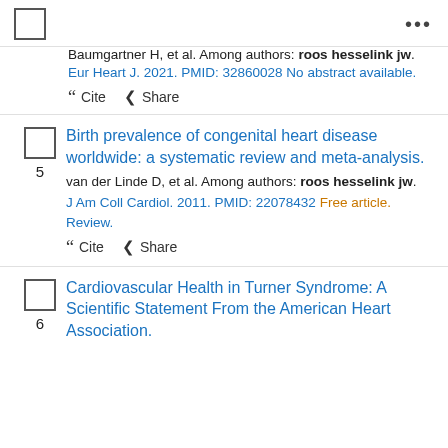Baumgartner H, et al. Among authors: roos hesselink jw. Eur Heart J. 2021. PMID: 32860028 No abstract available.
Cite  Share
Birth prevalence of congenital heart disease worldwide: a systematic review and meta-analysis.
van der Linde D, et al. Among authors: roos hesselink jw. J Am Coll Cardiol. 2011. PMID: 22078432 Free article. Review.
Cite  Share
Cardiovascular Health in Turner Syndrome: A Scientific Statement From the American Heart Association.